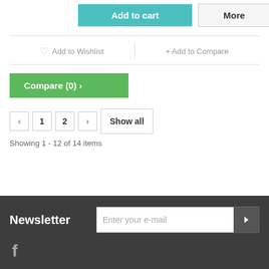Add to cart
More
♡ Add to Wishlist
+ Add to Compare
Compare (0) ›
‹  1  2  ›  Show all
Showing 1 - 12 of 14 items
Newsletter
Enter your e-mail